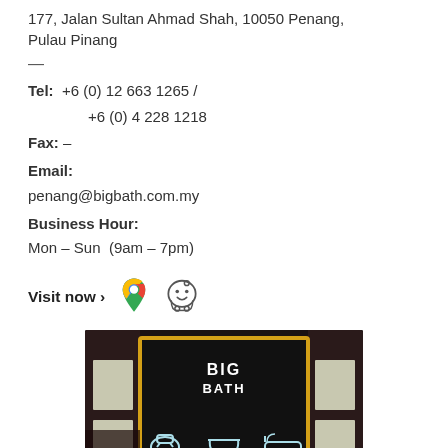177, Jalan Sultan Ahamd Shah, 10050 Penang, Pulau Pinang
—
Tel:  +6 (0) 12 663 1265 / +6 (0) 4 228 1218
Fax: –
Email:
penang@bigbath.com.my
Business Hour:
Mon – Sun  (9am – 7pm)
Visit now ›
[Figure (photo): Exterior photo of Big Bath store at night with illuminated BIG BATH sign and neon bathroom fixture icons]
[Figure (logo): Google Maps pin icon]
[Figure (logo): Waze navigation app icon]